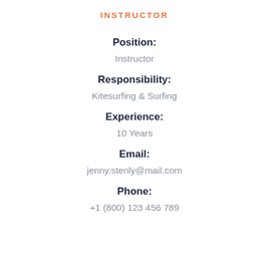INSTRUCTOR
Position:
Instructor
Responsibility:
Kitesurfing & Surfing
Experience:
10 Years
Email:
jenny.stenly@mail.com
Phone:
+1 (800) 123 456 789